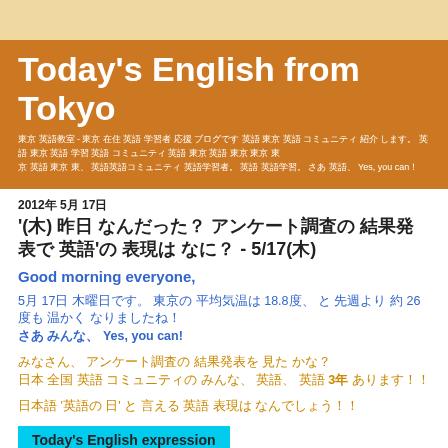Today's English from Tokyo
（日本語テキスト - 英語の勉強について書かれたブログのヘッダー説明文。東京から英語を学ぶ人々へ。はい、できます。 Yes, you can！
2012年 5月 17日
'(木) 昨日 なんだった？ アンケート調査の 結果発表で 英語'の 表現は なに？ - 5/17(木)
Good morning everyone,
5月 17日 木曜日です。 東京の 平均気温は 18.8度、 と 先週より 約 26度も 温かく なりましたね！
さあ みんな、 Yes, you can!
みなさん、 アンケート調査の 結果発表を 見た かな？
日本 全国 英語 コミュニティの みんな、 英語、 英語 3年 あります！！
日本語 '英語の 日' と 言える 英語 表現は なんでしょう！！
Today's English expression